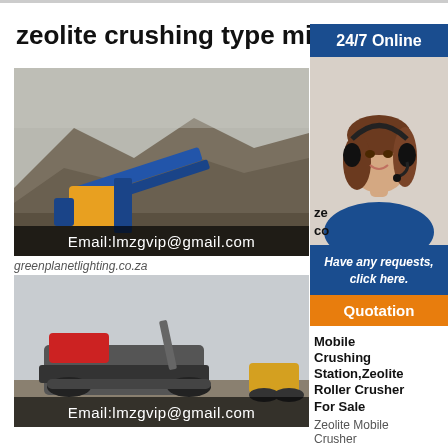zeolite crushing type mill crusher
[Figure (photo): Outdoor crushing plant with conveyor belts and stockpiles, email overlay: Email:lmzgvip@gmail.com]
greenplanetlighting.co.za
[Figure (photo): Mobile crushing station on tracks in outdoor setting, email overlay: Email:lmzgvip@gmail.com]
[Figure (photo): 24/7 Online customer service representative with headset]
Have any requests, click here.
Quotation
Mobile Crushing Station,Zeolite Roller Crusher For Sale
Zeolite Mobile Crusher